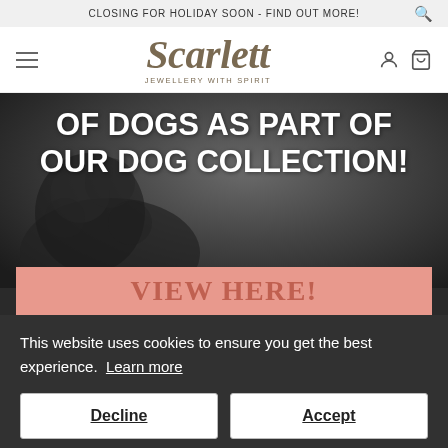CLOSING FOR HOLIDAY SOON - FIND OUT MORE!
[Figure (logo): Scarlett Jewellery With Spirit logo - decorative serif text in taupe/brown]
[Figure (photo): Dark greyscale background with a black curly-haired dog (poodle) silhouette]
OF DOGS AS PART OF OUR DOG COLLECTION!
VIEW HERE!
This website uses cookies to ensure you get the best experience.  Learn more
Decline
Accept